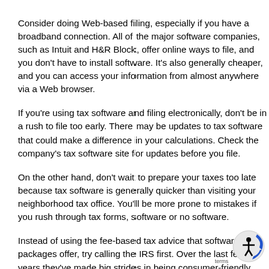Consider doing Web-based filing, especially if you have a broadband connection. All of the major software companies, such as Intuit and H&R Block, offer online ways to file, and you don't have to install software. It's also generally cheaper, and you can access your information from almost anywhere via a Web browser.
If you're using tax software and filing electronically, don't be in a rush to file too early. There may be updates to tax software that could make a difference in your calculations. Check the company's tax software site for updates before you file.
On the other hand, don't wait to prepare your taxes too late because tax software is generally quicker than visiting your neighborhood tax office. You'll be more prone to mistakes if you rush through tax forms, software or no software.
Instead of using the fee-based tax advice that software packages offer, try calling the IRS first. Over the last few years they've made big strides in being consumer-friendly. They may have an answer for your particular situation for free. If your